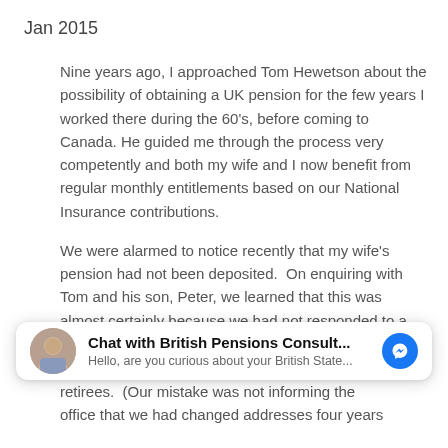Jan 2015
Nine years ago, I approached Tom Hewetson about the possibility of obtaining a UK pension for the few years I worked there during the 60's, before coming to Canada. He guided me through the process very competently and both my wife and I now benefit from regular monthly entitlements based on our National Insurance contributions.
We were alarmed to notice recently that my wife's pension had not been deposited.  On enquiring with Tom and his son, Peter, we learned that this was almost certainly because we had not responded to a “Proof of Life” letter the UK
[Figure (screenshot): Chat widget overlay showing 'Chat with British Pensions Consult...' with avatar photo of an older man, and a Facebook Messenger icon button. Subtitle reads: Hello, are you curious about your British State...]
retirees.  (Our mistake was not informing the office that we had changed addresses four years